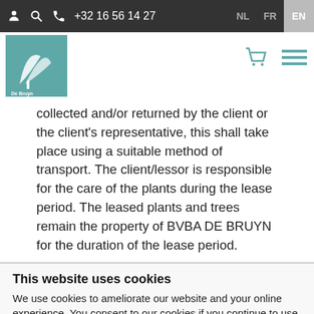+32 16 56 14 27   NL  FR  EN
collected and/or returned by the client or the client's representative, this shall take place using a suitable method of transport. The client/lessor is responsible for the care of the plants during the lease period. The leased plants and trees remain the property of BVBA DE BRUYN for the duration of the lease period.
This website uses cookies
We use cookies to ameliorate our website and your online experience. You consent to our cookies if you continue to use our website.
Use necessary cookies only   Allow all cookies
Show details